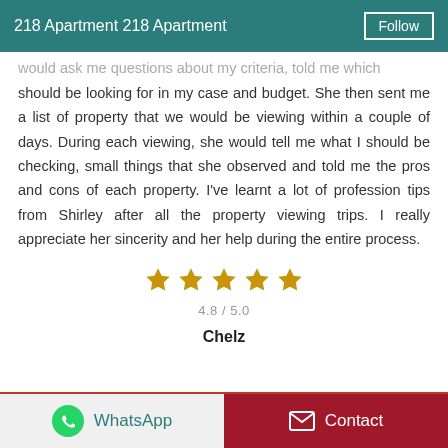218 Apartment 218 Apartment | Follow
would ask me questions about my criteria, told me which should be looking for in my case and budget. She then sent me a list of property that we would be viewing within a couple of days. During each viewing, she would tell me what I should be checking, small things that she observed and told me the pros and cons of each property. I've learnt a lot of profession tips from Shirley after all the property viewing trips. I really appreciate her sincerity and her help during the entire process.
[Figure (other): 5 gold stars rating display with 4.8 / 5.0 score]
Chelz
WhatsApp | Contact